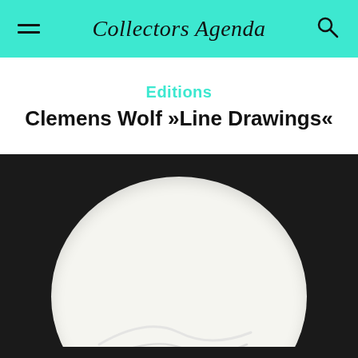Collectors Agenda
Editions
Clemens Wolf »Line Drawings«
[Figure (photo): A framed artwork showing a white oval/circle shape with subtle line drawing details on a dark background, displayed in a dark shadow box frame. Only the upper portion of the artwork is visible.]